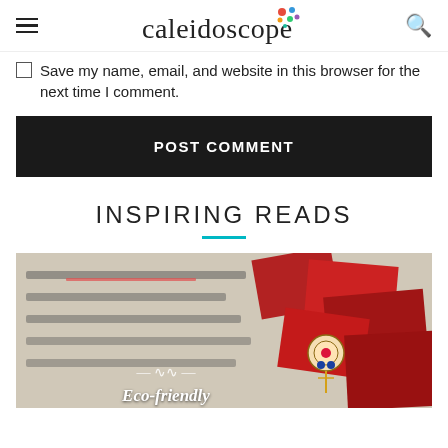Caleidoscope
Save my name, email, and website in this browser for the next time I comment.
POST COMMENT
INSPIRING READS
[Figure (photo): Photo of a document with Hindi/Marathi text and an eco-friendly rakhi bracelet on red envelopes. Overlay text reads 'Eco-friendly'.]